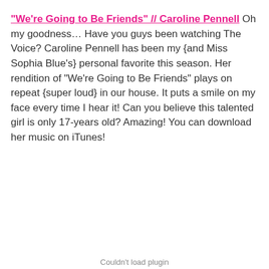“We’re Going to Be Friends” // Caroline Pennell  Oh my goodness… Have you guys been watching The Voice? Caroline Pennell has been my {and Miss Sophia Blue’s} personal favorite this season. Her rendition of “We’re Going to Be Friends” plays on repeat {super loud} in our house. It puts a smile on my face every time I hear it! Can you believe this talented girl is only 17-years old? Amazing! You can download her music on iTunes!
Couldn’t load plugin